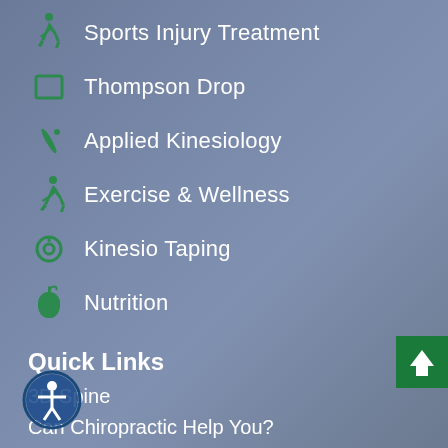Sports Injury Treatment
Thompson Drop
Applied Kinesiology
Exercise & Wellness
Kinesio Taping
Nutrition
Quick Links
3D Spine
Can Chiropractic Help You?
Chiropractic News
Video Library
[Figure (illustration): Accessibility icon button - person in circle]
[Figure (illustration): Green scroll-to-top button with upward arrow]